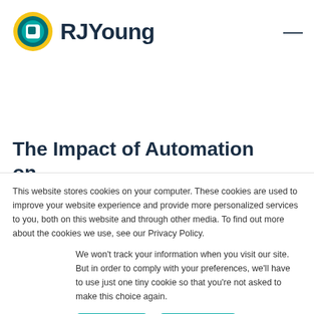[Figure (logo): RJ Young logo: circular icon with teal square on dark teal background with yellow outer ring, followed by bold dark navy text 'RJYoung']
The Impact of Automation on
This website stores cookies on your computer. These cookies are used to improve your website experience and provide more personalized services to you, both on this website and through other media. To find out more about the cookies we use, see our Privacy Policy.
We won't track your information when you visit our site. But in order to comply with your preferences, we'll have to use just one tiny cookie so that you're not asked to make this choice again.